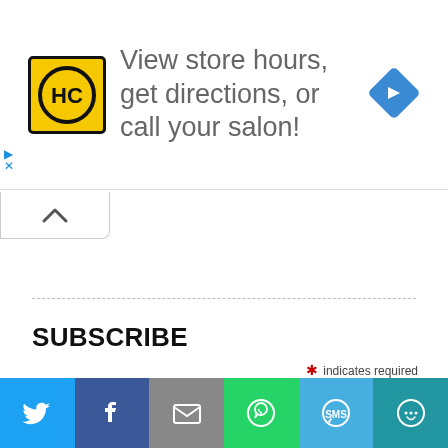[Figure (infographic): Advertisement banner: HC logo (yellow background with H and C letters in circular design), text 'View store hours, get directions, or call your salon!', blue diamond-shaped navigation arrow icon on the right. Small play and close controls on the left side.]
[Figure (infographic): Collapse/minimize tab with upward chevron arrow]
SUBSCRIBE
* indicates required
Email Address *
[Figure (infographic): Social sharing bar with six buttons: Twitter (blue), Facebook (dark blue), Email (gray), WhatsApp (green), SMS (light blue), More/share (teal)]